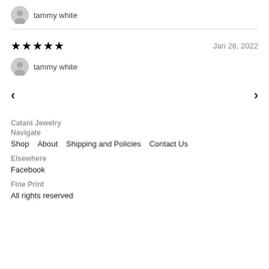tammy white
★★★★★   Jan 28, 2022
tammy white
‹   ›
Catani Jewelry
Navigate
Shop   About   Shipping and Policies   Contact Us
Elsewhere
Facebook
Fine Print
All rights reserved